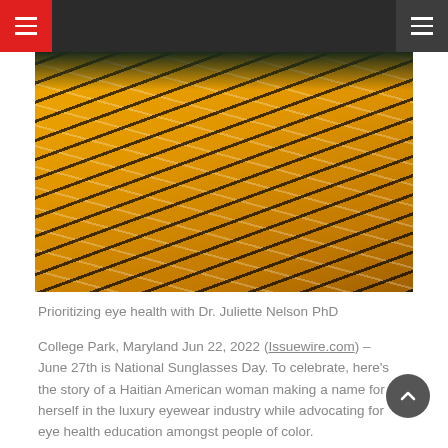Navigation bar with menu icons
[Figure (photo): A woman wearing a yellow, black, and white patterned garment, holding it up around her face. Blue hair visible at top. Background is dark green foliage.]
Prioritizing eye health with Dr. Juliette Nelson PhD
College Park, Maryland Jun 22, 2022 (Issuewire.com) – June 27th is National Sunglasses Day. To celebrate, here's the story of a Haitian American woman making a name for herself in the luxury eyewear industry while advocating for eye health education amongst people of color.